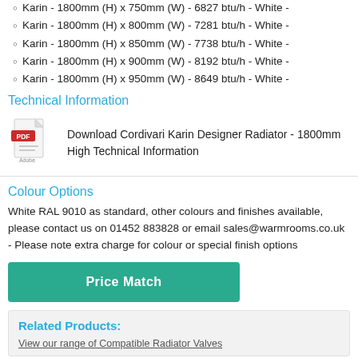Karin - 1800mm (H) x 750mm (W) - 6827 btu/h - White -
Karin - 1800mm (H) x 800mm (W) - 7281 btu/h - White -
Karin - 1800mm (H) x 850mm (W) - 7738 btu/h - White -
Karin - 1800mm (H) x 900mm (W) - 8192 btu/h - White -
Karin - 1800mm (H) x 950mm (W) - 8649 btu/h - White -
Technical Information
[Figure (illustration): Adobe PDF icon]
Download Cordivari Karin Designer Radiator - 1800mm High Technical Information
Colour Options
White RAL 9010 as standard, other colours and finishes available, please contact us on 01452 883828 or email sales@warmrooms.co.uk - Please note extra charge for colour or special finish options
Price Match
Related Products:
View our range of Compatible Radiator Valves